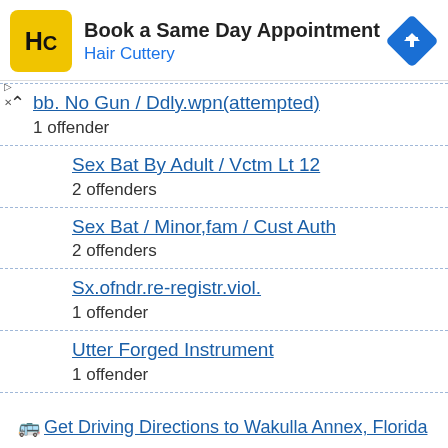[Figure (infographic): Hair Cuttery advertisement banner with logo, text 'Book a Same Day Appointment / Hair Cuttery' and a blue diamond navigation icon]
Robb. No Gun / Ddly.wpn(attempted)
1 offender
Sex Bat By Adult / Vctm Lt 12
2 offenders
Sex Bat / Minor,fam / Cust Auth
2 offenders
Sx.ofndr.re-registr.viol.
1 offender
Utter Forged Instrument
1 offender
Get Driving Directions to Wakulla Annex, Florida